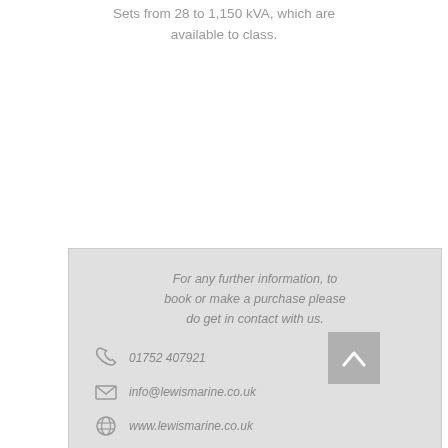Sets from 28 to 1,150 kVA, which are available to class.
For any further information, to book or make a purchase please do get in contact with us.
01752 407921
info@lewismarine.co.uk
www.lewismarine.co.uk
Click Here to see our Terms & Conditions